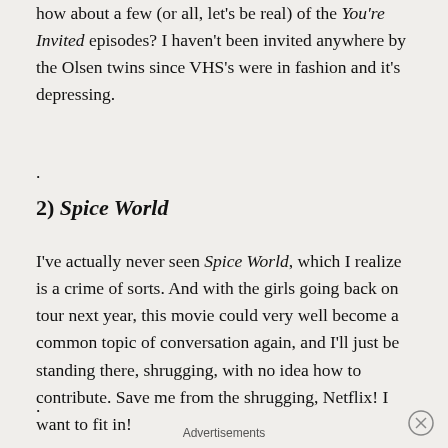how about a few (or all, let’s be real) of the You’re Invited episodes? I haven’t been invited anywhere by the Olsen twins since VHS’s were in fashion and it’s depressing.
.
2) Spice World
I’ve actually never seen Spice World, which I realize is a crime of sorts. And with the girls going back on tour next year, this movie could very well become a common topic of conversation again, and I’ll just be standing there, shrugging, with no idea how to contribute. Save me from the shrugging, Netflix! I want to fit in!
.
Advertisements